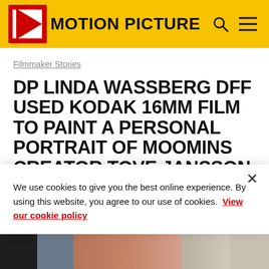KODAK MOTION PICTURE
Filmmaker Stories
DP LINDA WASSBERG DFF USED KODAK 16MM FILM TO PAINT A PERSONAL PORTRAIT OF MOOMINS CREATOR TOVE JANSSON IN 'TOVE'
August 02, 2021
We use cookies to give you the best online experience. By using this website, you agree to our use of cookies. View our cookie policy
[Figure (photo): Bottom strip showing partial interior room photo with bookshelves and curtains]